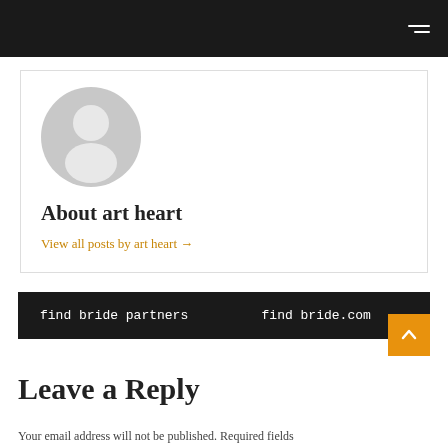[Figure (illustration): Gray default avatar/profile image showing silhouette of a person in a circle]
About art heart
View all posts by art heart →
find bride partners
find bride.com
Leave a Reply
Your email address will not be published. Required fields